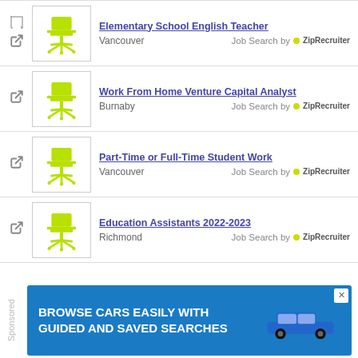Elementary School English Teacher — Vancouver — Job Search by ZipRecruiter
Work From Home Venture Capital Analyst — Burnaby — Job Search by ZipRecruiter
Part-Time or Full-Time Student Work — Vancouver — Job Search by ZipRecruiter
Education Assistants 2022-2023 — Richmond — Job Search by ZipRecruiter
[Figure (screenshot): Ad banner: BROWSE CARS EASILY WITH GUIDED AND SAVED SEARCHES with blue background and car image]